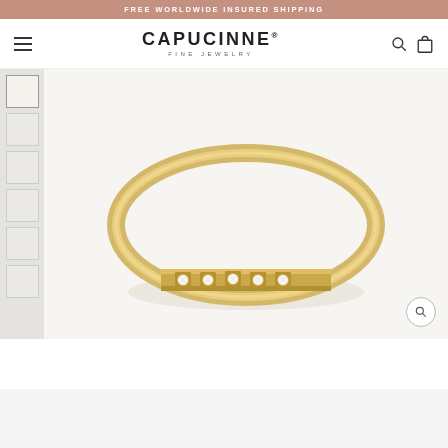FREE WORLDWIDE INSURED SHIPPING
[Figure (logo): Capucinne Fine Jewelry logo with hamburger menu, search icon, and shopping bag icon]
[Figure (photo): Close-up photo of a thin gold band ring with five small round diamonds set in a row on the front face, resting on a light background]